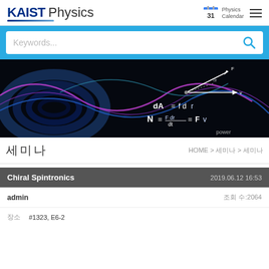KAIST Physics
[Figure (screenshot): Search bar with 'Keywords...' placeholder text and search icon on blue background]
[Figure (photo): Dark physics-themed hero banner with colorful wave patterns and physics formulas: dA = f·dr, N = F·dr/dt = F·v, labeled 'power']
세미나
HOME > 세미나 > 세미나
| Chiral Spintronics | 2019.06.12 16:53 |
| --- | --- |
| admin | 조회 수:2064 |
장소   #1323, E6-2